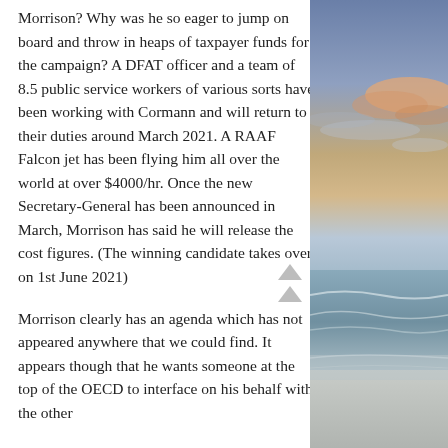Morrison? Why was he so eager to jump on board and throw in heaps of taxpayer funds for the campaign? A DFAT officer and a team of 8.5 public service workers of various sorts have been working with Cormann and will return to their duties around March 2021. A RAAF Falcon jet has been flying him all over the world at over $4000/hr. Once the new Secretary-General has been announced in March, Morrison has said he will release the cost figures. (The winning candidate takes over on 1st June 2021)
Morrison clearly has an agenda which has not appeared anywhere that we could find. It appears though that he wants someone at the top of the OECD to interface on his behalf with the other
[Figure (photo): Photograph of a beach scene at sunset or sunrise, showing ocean waves, sandy shore, and a dramatic sky with orange and blue tones and clouds.]